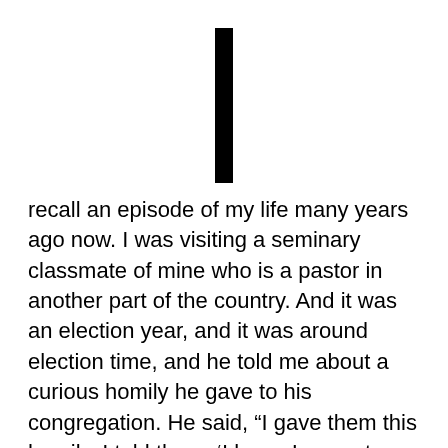[Figure (other): Large bold capital letter I used as a drop cap, rendered as a solid black vertical rectangle]
recall an episode of my life many years ago now. I was visiting a seminary classmate of mine who is a pastor in another part of the country. And it was an election year, and it was around election time, and he told me about a curious homily he gave to his congregation. He said, “I gave them this homily. I told them, ‘I know I am not supposed to tell you how to vote. We have an election coming up, but I am not supposed to